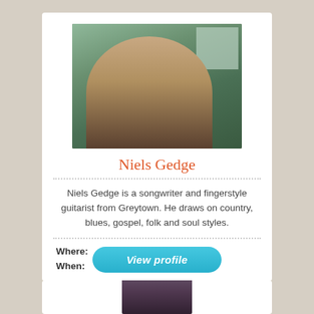[Figure (photo): Photo of Niels Gedge playing guitar indoors]
Niels Gedge
Niels Gedge is a songwriter and fingerstyle guitarist from Greytown. He draws on country, blues, gospel, folk and soul styles.
Where: (V2) Newtown Social Club
When: 3rd Mar 12:00pm
[Figure (photo): Partial photo of another person at bottom of page]